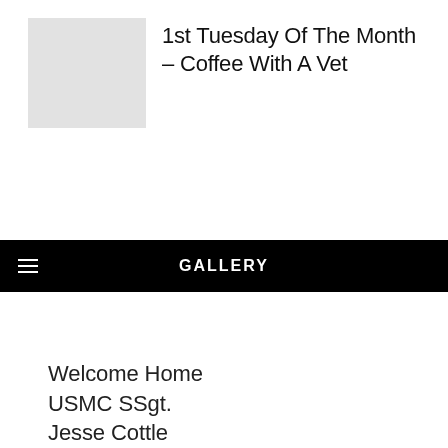[Figure (logo): Light gray square placeholder logo box]
1st Tuesday Of The Month – Coffee With A Vet
GALLERY
Welcome Home USMC SSgt. Jesse Cottle